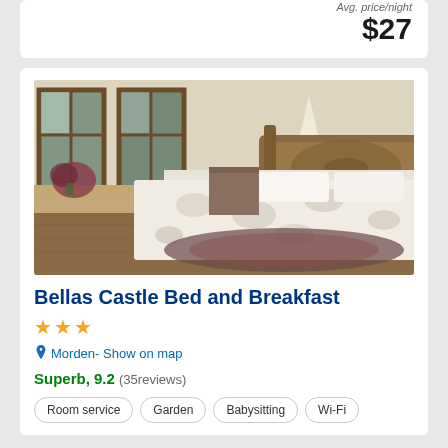Avg. price/night
$27
[Figure (photo): Interior bedroom photo showing an ornate wooden headboard bed with white floral bedspread, hardwood floors with Persian rug, windows with natural light, flowers on windowsill, and bedside lamp]
Bellas Castle Bed and Breakfast
★★★
Morden- Show on map
Superb, 9.2 (35reviews)
Room service
Garden
Babysitting
Wi-Fi